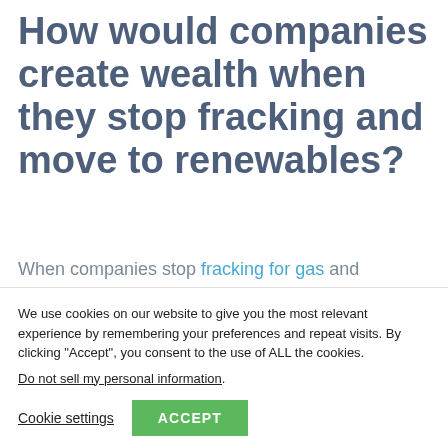How would companies create wealth when they stop fracking and move to renewables?
When companies stop fracking for gas and instead move to renewables, they will still be
We use cookies on our website to give you the most relevant experience by remembering your preferences and repeat visits. By clicking "Accept", you consent to the use of ALL the cookies. Do not sell my personal information.
Cookie settings  ACCEPT